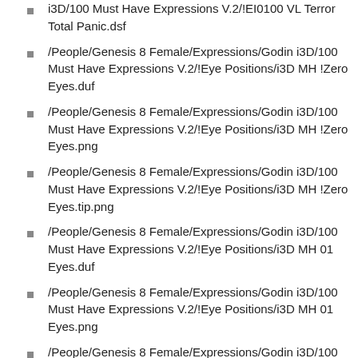i3D/100 Must Have Expressions V.2/!EI0100 VL Terror Total Panic.dsf
/People/Genesis 8 Female/Expressions/Godin i3D/100 Must Have Expressions V.2/!Eye Positions/i3D MH !Zero Eyes.duf
/People/Genesis 8 Female/Expressions/Godin i3D/100 Must Have Expressions V.2/!Eye Positions/i3D MH !Zero Eyes.png
/People/Genesis 8 Female/Expressions/Godin i3D/100 Must Have Expressions V.2/!Eye Positions/i3D MH !Zero Eyes.tip.png
/People/Genesis 8 Female/Expressions/Godin i3D/100 Must Have Expressions V.2/!Eye Positions/i3D MH 01 Eyes.duf
/People/Genesis 8 Female/Expressions/Godin i3D/100 Must Have Expressions V.2/!Eye Positions/i3D MH 01 Eyes.png
/People/Genesis 8 Female/Expressions/Godin i3D/100 Must Have Expressions V.2/!Eye Positions/i3D MH 01 Eyes.tip.png
/People/Genesis 8 Female/Expressions/Godin